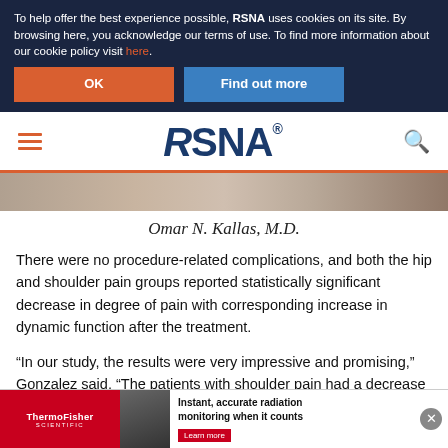To help offer the best experience possible, RSNA uses cookies on its site. By browsing here, you acknowledge our terms of use. To find more information about our cookie policy visit here.
OK | Find out more
[Figure (logo): RSNA logo with hamburger menu and search icon navigation bar]
[Figure (photo): Partial photo strip showing person, attributed to Omar N. Kallas, M.D.]
Omar N. Kallas, M.D.
There were no procedure-related complications, and both the hip and shoulder pain groups reported statistically significant decrease in degree of pain with corresponding increase in dynamic function after the treatment.
“In our study, the results were very impressive and promising,” Gonzalez said. “The patients with shoulder pain had a decrease in pain of 85%, and an increase in function of approximately 74%. pa... and a fu...
[Figure (screenshot): ThermoFisher Scientific advertisement banner at bottom of page with text: Instant, accurate radiation monitoring when it counts. Learn more.]